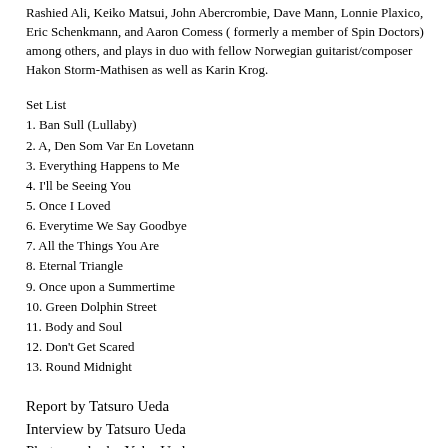Rashied Ali, Keiko Matsui, John Abercrombie, Dave Mann, Lonnie Plaxico, Eric Schenkmann, and Aaron Comess ( formerly a member of Spin Doctors) among others, and plays in duo with fellow Norwegian guitarist/composer Hakon Storm-Mathisen as well as Karin Krog.
Set List
1. Ban Sull (Lullaby)
2. A, Den Som Var En Lovetann
3. Everything Happens to Me
4. I'll be Seeing You
5. Once I Loved
6. Everytime We Say Goodbye
7. All the Things You Are
8. Eternal Triangle
9. Once upon a Summertime
10. Green Dolphin Street
11. Body and Soul
12. Don't Get Scared
13. Round Midnight
Report by Tatsuro Ueda
Interview by Tatsuro Ueda
Photography by Yoko Ueda
Design by Asako Matsuzaka
Special Thanks to COSMO PR, Satin Doll, Roppongi